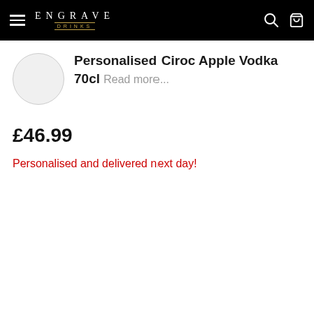ENGRAVE DRINKS
Personalised Ciroc Apple Vodka 70cl Read more...
£46.99
Personalised and delivered next day!